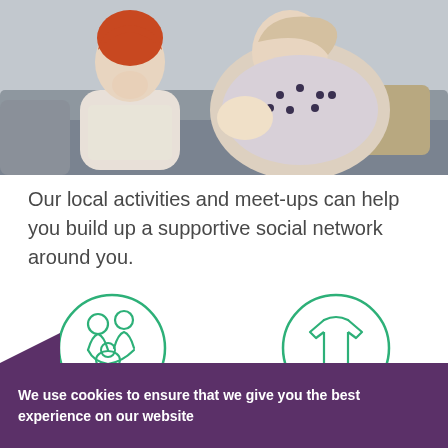[Figure (photo): A parent and young child sitting on a grey sofa. The child has red hair and the adult is holding a baby. Both appear to be in a relaxed home setting.]
Our local activities and meet-ups can help you build up a supportive social network around you.
[Figure (illustration): Green circle icon showing two adults with a baby – representing feeding support]
Feeding support
[Figure (illustration): Green circle icon showing a baby onesie/romper suit – representing NCT Nearly New Sale]
NCT Nearly New S
We use cookies to ensure that we give you the best experience on our website